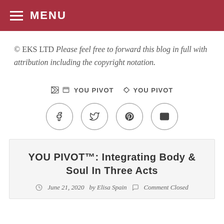MENU
© EKS LTD Please feel free to forward this blog in full with attribution including the copyright notation.
YOU PIVOT  YOU PIVOT
[Figure (other): Social share buttons: Facebook, Twitter, Pinterest, Email — circular outlined icons]
YOU PIVOT™: Integrating Body & Soul In Three Acts
June 21, 2020  by Elisa Spain  Comment Closed